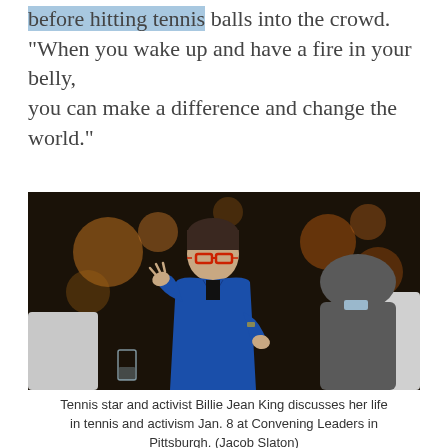before hitting tennis balls into the crowd. "When you wake up and have a fire in your belly, you can make a difference and change the world."
[Figure (photo): Tennis star and activist Billie Jean King seated in a white chair, wearing a blue jacket and red glasses, gesturing with her hands while speaking to a man in a gray suit whose back is to the camera. The background is dark with orange bokeh lights.]
Tennis star and activist Billie Jean King discusses her life in tennis and activism Jan. 8 at Convening Leaders in Pittsburgh. (Jacob Slaton)